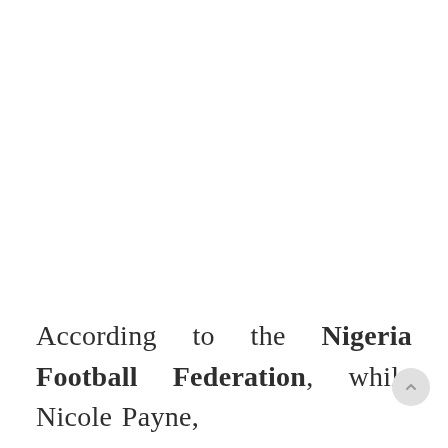According to the Nigeria Football Federation, while Nicole Payne,